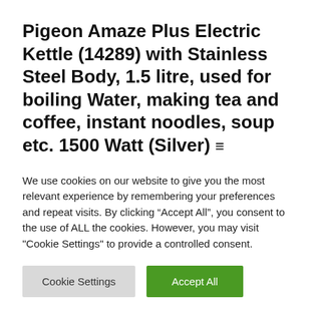Pigeon Amaze Plus Electric Kettle (14289) with Stainless Steel Body, 1.5 litre, used for boiling Water, making tea and coffee, instant noodles, soup etc. 1500 Watt (Silver) ≡
(as of September 2, 2022 05:51 GMT +05:30 - More info)
We use cookies on our website to give you the most relevant experience by remembering your preferences and repeat visits. By clicking "Accept All", you consent to the use of ALL the cookies. However, you may visit "Cookie Settings" to provide a controlled consent.